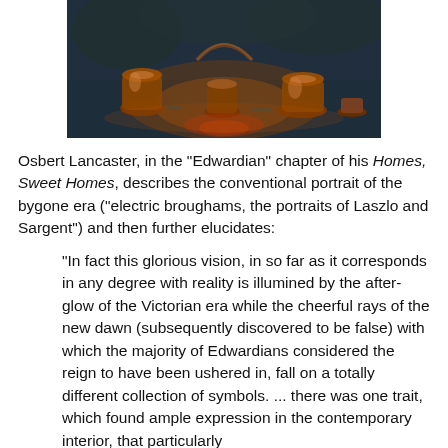[Figure (photo): A dark, moody photograph showing copper or bronze vessels, pots, and decorative objects arranged on a surface, with warm amber/orange tones from candlelight or similar lighting against a dark blue-green background with foliage.]
Osbert Lancaster, in the "Edwardian" chapter of his Homes, Sweet Homes, describes the conventional portrait of the bygone era ("electric broughams, the portraits of Laszlo and Sargent") and then further elucidates:
"In fact this glorious vision, in so far as it corresponds in any degree with reality is illumined by the after-glow of the Victorian era while the cheerful rays of the new dawn (subsequently discovered to be false) with which the majority of Edwardians considered the reign to have been ushered in, fall on a totally different collection of symbols. ... there was one trait, which found ample expression in the contemporary interior, that particularly